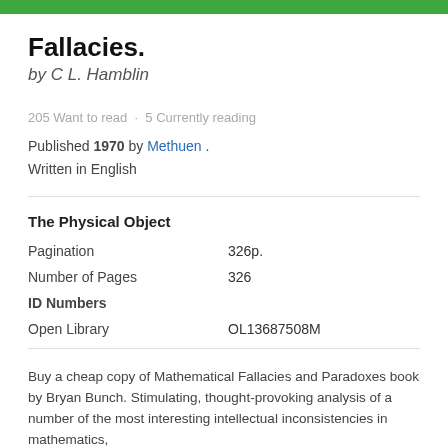Fallacies.
by C L. Hamblin
205 Want to read · 5 Currently reading
Published 1970 by Methuen . Written in English
The Physical Object
|  |  |
| --- | --- |
| Pagination | 326p. |
| Number of Pages | 326 |
| ID Numbers |  |
| Open Library | OL13687508M |
Buy a cheap copy of Mathematical Fallacies and Paradoxes book by Bryan Bunch. Stimulating, thought-provoking analysis of a number of the most interesting intellectual inconsistencies in mathematics,